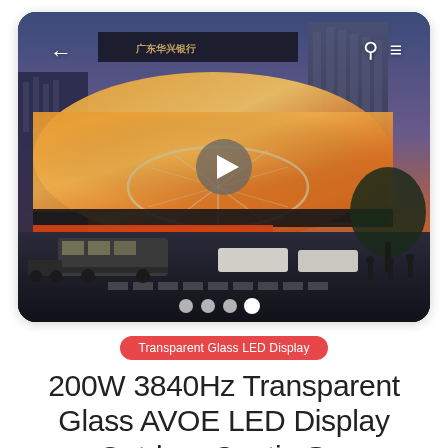[Figure (photo): Outdoor LED display billboard on a building in China, showing a large curved transparent LED screen with a shopping mall dome structure and cityscape at dusk. Street scene with buses and pedestrians below. Chinese text '广东华兴银行' visible on the building. Video play button overlay in center. Navigation dots at bottom.]
Transparent Glass LED Display
200W 3840Hz Transparent Glass AVOE LED Display Outdoor Contin S...